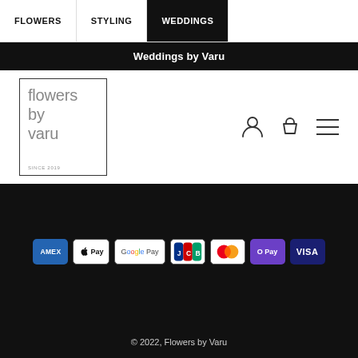FLOWERS   STYLING   WEDDINGS
Weddings by Varu
[Figure (logo): Flowers by Varu logo in a rectangular border with text 'flowers by varu' and 'SINCE 2019' below]
[Figure (infographic): Payment method badges: AMEX, Apple Pay, Google Pay, JCB, Mastercard, O Pay, VISA]
© 2022, Flowers by Varu